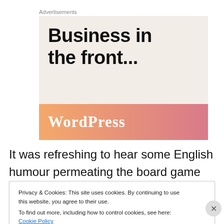Advertisements
[Figure (illustration): Advertisement box with 'Business in the front...' text in bold black on light beige background, with orange-pink gradient banner at bottom showing 'WordPress' text]
It was refreshing to hear some English humour permeating the board game podcast arena, while any lack of
Privacy & Cookies: This site uses cookies. By continuing to use this website, you agree to their use.
To find out more, including how to control cookies, see here: Cookie Policy
Close and accept